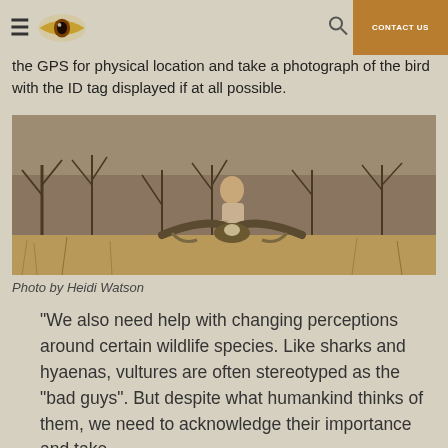CONTACT US
the GPS for physical location and take a photograph of the bird with the ID tag displayed if at all possible.
[Figure (photo): A man in outdoor clothing crouching in dry grassland/savanna habitat, handling a large bird of prey (vulture) with wings spread, trees visible in the background.]
Photo by Heidi Watson
"We also need help with changing perceptions around certain wildlife species. Like sharks and hyaenas, vultures are often stereotyped as the "bad guys". But despite what humankind thinks of them, we need to acknowledge their importance and take